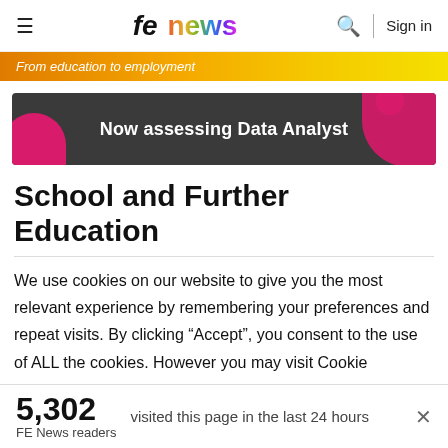fe news | Sign in
From education to employment
[Figure (illustration): Dark grey advertisement banner with pink decorative blobs, text: Now assessing Data Analyst]
School and Further Education
We use cookies on our website to give you the most relevant experience by remembering your preferences and repeat visits. By clicking “Accept”, you consent to the use of ALL the cookies. However you may visit Cookie
5,302
FE News readers
visited this page in the last 24 hours